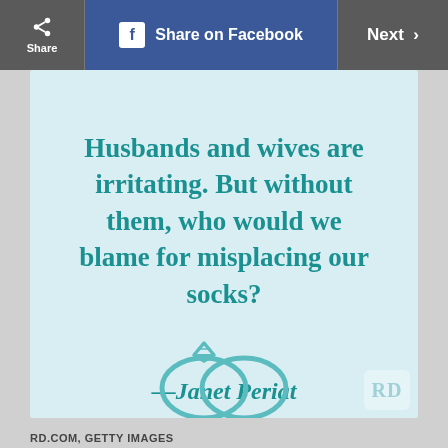Share  |  Share on Facebook  |  Next >
Husbands and wives are irritating. But without them, who would we blame for misplacing our socks?
—Janet Periat
[Figure (illustration): Two overlapping wedding rings drawn in teal outline style]
RD.COM, GETTY IMAGES